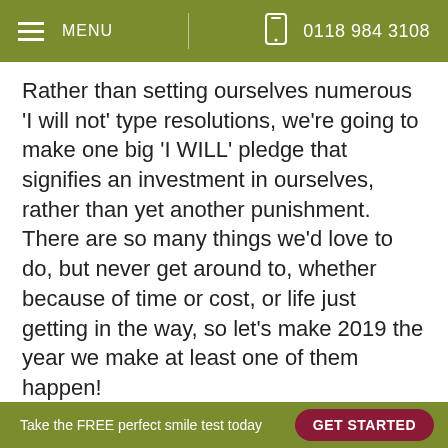MENU | 0118 984 3108
Rather than setting ourselves numerous 'I will not' type resolutions, we're going to make one big 'I WILL' pledge that signifies an investment in ourselves, rather than yet another punishment. There are so many things we'd love to do, but never get around to, whether because of time or cost, or life just getting in the way, so let's make 2019 the year we make at least one of them happen!
So whether it's booking that once-in-a-lifetime safari holiday, enrolling on that evening course you've always wanted to do, or even finally taking the plunge and getting a brace, or that
Take the FREE perfect smile test today  GET STARTED